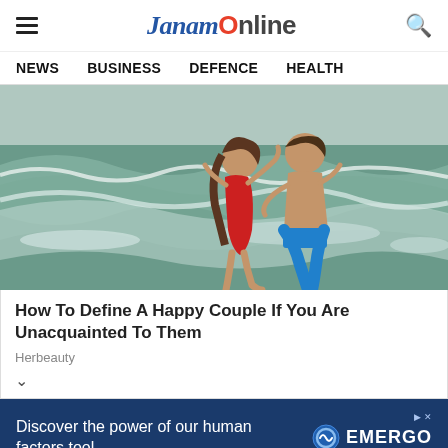JanamOnline
NEWS   BUSINESS   DEFENCE   HEALTH
[Figure (photo): A couple at the beach, woman in red swimsuit and man in blue shorts, embracing near ocean waves]
How To Define A Happy Couple If You Are Unacquainted To Them
Herbeauty
[Figure (other): Advertisement banner for EMERGO by UL — navy blue background, text: Discover the power of our human factors tool, with EMERGO logo on the right]